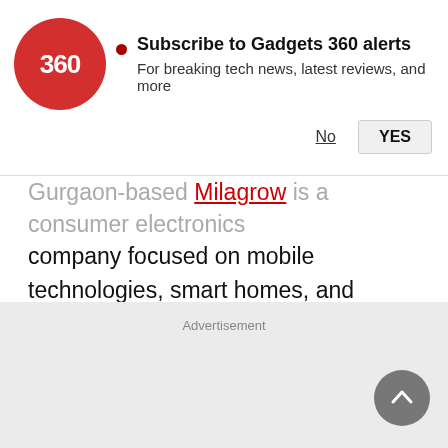[Figure (logo): Gadgets 360 red circular logo with '360' text in white]
Subscribe to Gadgets 360 alerts
For breaking tech news, latest reviews, and more
No   YES
Gurgaon-based Milagrow is a consumer electronics company focused on mobile technologies, smart homes, and robotics. The company claims many India firsts, including floor cleaning robots, body massaging robots, and claims to be India's largest manufacturer of robot kits. Milagrow's cleaning robots are significantly cheaper than iRobot's Roomba, although the entry level models lack many of the features that the Roomba has.
Advertisement